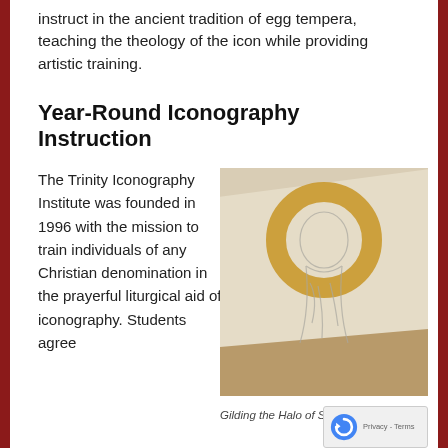instruct in the ancient tradition of egg tempera, teaching the theology of the icon while providing artistic training.
Year-Round Iconography Instruction
The Trinity Iconography Institute was founded in 1996 with the mission to train individuals of any Christian denomination in the prayerful liturgical aid of iconography. Students agree
[Figure (photo): A photograph of an icon panel being worked on, showing a sketch of a holy figure with a gold halo being gilded, on a wooden board, photographed from an angle.]
Gilding the Halo of St. Anthony of Eg...